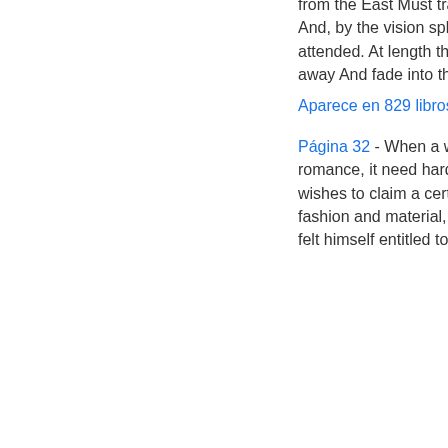sees it in his joy. The youth who daily farther from the East Must travel, still is Nature's priest, And, by the vision splendid, Is on his way attended. At length the man perceives it die away And fade into the light of common day.
Aparece en 829 libros desde 1807-2008
Página 32 - When a writer calls his work a romance, it need hardly be observed that he wishes to claim a certain latitude, both as to its fashion and material, which he would not have felt himself entitled to assume had he